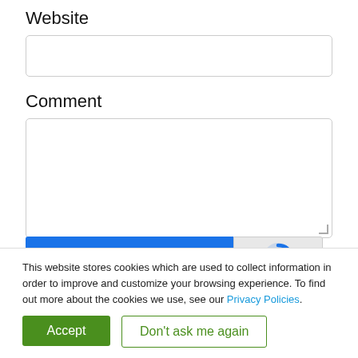Website
[Figure (screenshot): Empty website input field (text input box)]
Comment
[Figure (screenshot): Empty comment textarea with resize handle]
[Figure (screenshot): reCAPTCHA widget bar with blue background showing 'protected by reCAPTCHA' text and reCAPTCHA logo]
This website stores cookies which are used to collect information in order to improve and customize your browsing experience. To find out more about the cookies we use, see our Privacy Policies.
Accept
Don't ask me again